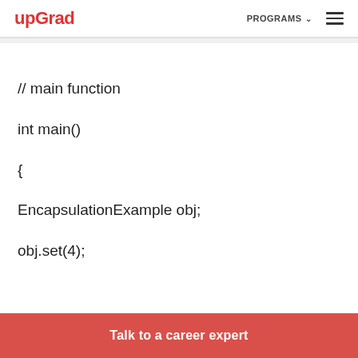upGrad | PROGRAMS ☰
// main function
int main()
{
EncapsulationExample obj;
obj.set(4);
Talk to a career expert